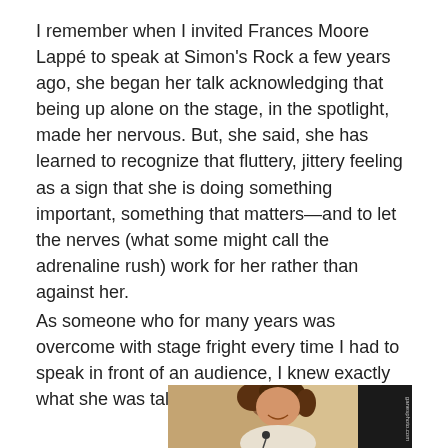I remember when I invited Frances Moore Lappé to speak at Simon's Rock a few years ago, she began her talk acknowledging that being up alone on the stage, in the spotlight, made her nervous. But, she said, she has learned to recognize that fluttery, jittery feeling as a sign that she is doing something important, something that matters—and to let the nerves (what some might call the adrenaline rush) work for her rather than against her.
As someone who for many years was overcome with stage fright every time I had to speak in front of an audience, I knew exactly what she was talking about.
[Figure (photo): A woman with curly brown hair smiling, speaking at a microphone. Background shows curtains and a dark speaker stand. Watermark text on right side reads 'ganesphoto.com'.]